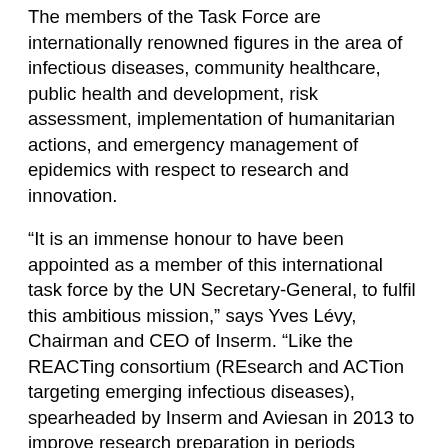The members of the Task Force are internationally renowned figures in the area of infectious diseases, community healthcare, public health and development, risk assessment, implementation of humanitarian actions, and emergency management of epidemics with respect to research and innovation.
“It is an immense honour to have been appointed as a member of this international task force by the UN Secretary-General, to fulfil this ambitious mission,” says Yves Lévy, Chairman and CEO of Inserm. “Like the REACTing consortium (REsearch and ACTion targeting emerging infectious diseases), spearheaded by Inserm and Aviesan in 2013 to improve research preparation in periods between crises, and establish research projects in periods of epidemic crisis, I hope our work will contribute to strengthening the systems, throughout the world, that can assist the global response to the emergence of epidemics. It has become a key health issue for the planet.”
The Task Force will exercise its functions for one year, starting